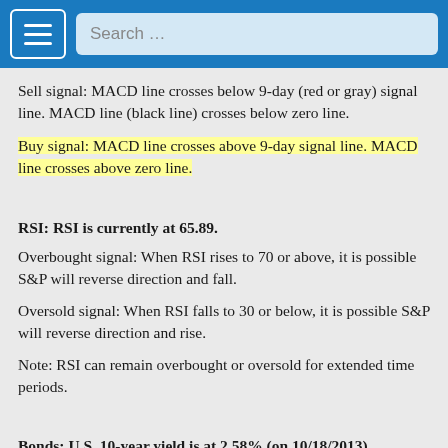Search …
Sell signal: MACD line crosses below 9-day (red or gray) signal line. MACD line (black line) crosses below zero line.
Buy signal: MACD line crosses above 9-day signal line. MACD line crosses above zero line.
RSI: RSI is currently at 65.89.
Overbought signal: When RSI rises to 70 or above, it is possible S&P will reverse direction and fall.
Oversold signal: When RSI falls to 30 or below, it is possible S&P will reverse direction and rise.
Note: RSI can remain overbought or oversold for extended time periods.
Bonds: U.S. 10-year yield is at 2.58% (on 10/18/2013)